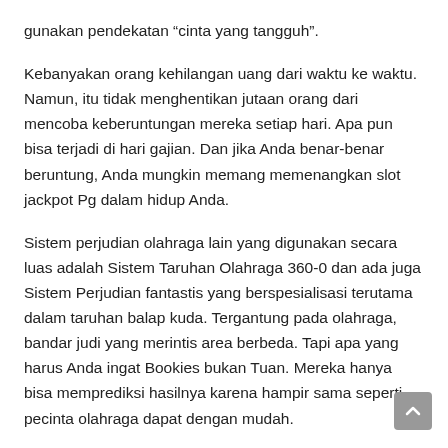gunakan pendekatan “cinta yang tangguh”.
Kebanyakan orang kehilangan uang dari waktu ke waktu. Namun, itu tidak menghentikan jutaan orang dari mencoba keberuntungan mereka setiap hari. Apa pun bisa terjadi di hari gajian. Dan jika Anda benar-benar beruntung, Anda mungkin memang memenangkan slot jackpot Pg dalam hidup Anda.
Sistem perjudian olahraga lain yang digunakan secara luas adalah Sistem Taruhan Olahraga 360-0 dan ada juga Sistem Perjudian fantastis yang berspesialisasi terutama dalam taruhan balap kuda. Tergantung pada olahraga, bandar judi yang merintis area berbeda. Tapi apa yang harus Anda ingat Bookies bukan Tuan. Mereka hanya bisa memprediksi hasilnya karena hampir sama seperti pecinta olahraga dapat dengan mudah.
Tetap dalam rangka untuk beberapa sistem Anda akan memiliki lari kering dan diuji terlebih dahulu sebelum menggunakannya untuk bertaruh pada taruhan yang sebenarnya. Pastikan Anda...